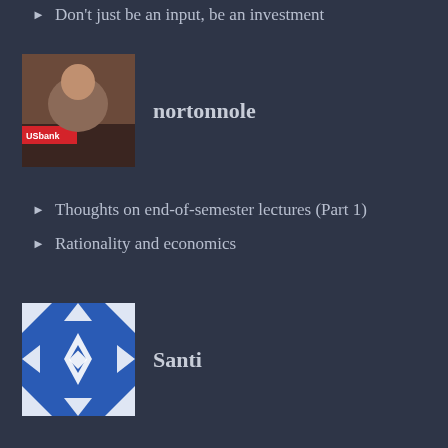Don't just be an input, be an investment
[Figure (photo): Profile avatar photo of nortonnole showing a person at a US Bank event]
nortonnole
Thoughts on end-of-semester lectures (Part 1)
Rationality and economics
[Figure (illustration): Blue and white geometric snowflake/star pattern avatar for Santi]
Santi
Charter Cities and Genetic Algorithms
The statistically diverse curriculum
[Figure (illustration): Pink and white geometric flower/star pattern avatar for siyuwsu]
siyuwsu